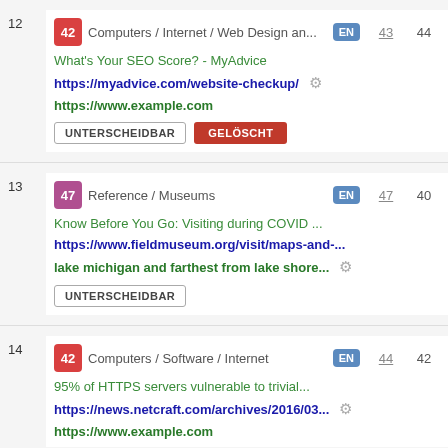12 | 42 Computers / Internet / Web Design an... | EN | 43 | 44
What's Your SEO Score? - MyAdvice
https://myadvice.com/website-checkup/
https://www.example.com
UNTERSCHEIDBARGELÖSCHT
13 | 47 Reference / Museums | EN | 47 | 40
Know Before You Go: Visiting during COVID ...
https://www.fieldmuseum.org/visit/maps-and-...
lake michigan and farthest from lake shore...
UNTERSCHEIDBARr
14 | 42 Computers / Software / Internet | EN | 44 | 42
95% of HTTPS servers vulnerable to trivial...
https://news.netcraft.com/archives/2016/03...
https://www.example.com